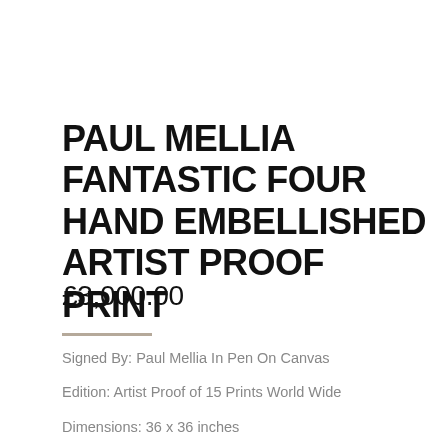PAUL MELLIA FANTASTIC FOUR HAND EMBELLISHED ARTIST PROOF PRINT
£3,000.00
Signed By: Paul Mellia In Pen On Canvas
Edition: Artist Proof of 15 Prints World Wide
Dimensions: 36 x 36 inches
Atelier: Paul Mellia Artworks